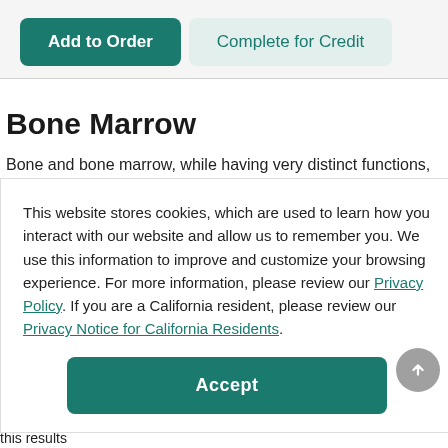[Figure (screenshot): Two buttons: 'Add to Order' (dark teal filled) and 'Complete for Credit' (light teal outlined)]
Bone Marrow
Bone and bone marrow, while having very distinct functions, also work
This website stores cookies, which are used to learn how you interact with our website and allow us to remember you. We use this information to improve and customize your browsing experience. For more information, please review our Privacy Policy. If you are a California resident, please review our Privacy Notice for California Residents.
[Figure (screenshot): Accept button (dark teal, rounded)]
multitude of problems. In MM, homeostasis is lost or uncoupled, and this results